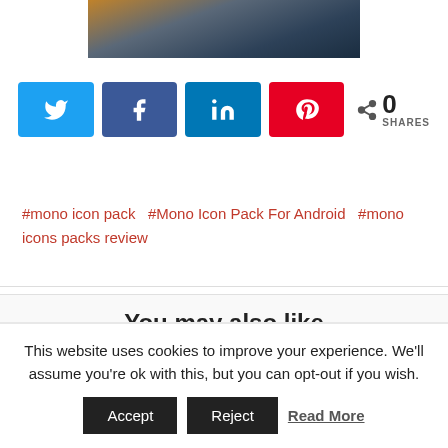[Figure (photo): Partial screenshot of an Android icon pack image at top of page]
[Figure (infographic): Social share buttons: Twitter (blue), Facebook (dark blue), LinkedIn (navy), Pinterest (red), with share count showing 0 SHARES]
#mono icon pack  #Mono Icon Pack For Android  #mono icons packs review
You may also like
This website uses cookies to improve your experience. We'll assume you're ok with this, but you can opt-out if you wish.
Accept  Reject  Read More